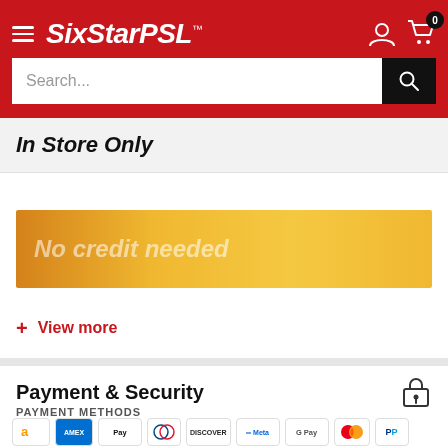SixStarPSL™
In Store Only
[Figure (infographic): Golden/yellow gradient banner with text 'No credit needed' in faded italic white]
+ View more
Payment & Security
PAYMENT METHODS
[Figure (illustration): Row of payment method icons: Amazon, Amex, Apple Pay, Diners Club, Discover, Meta Pay, Google Pay, Mastercard, PayPal]